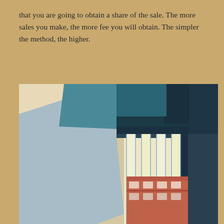that you are going to obtain a share of the sale. The more sales you make, the more fee you will obtain. The simpler the method, the higher.
[Figure (illustration): Architectural illustration showing a modern building interior viewed from below, with geometric ceiling panels in teal and dark navy, tall vertical windows letting in warm light, and a reflection or view of a red-brick building with plants visible at bottom right.]